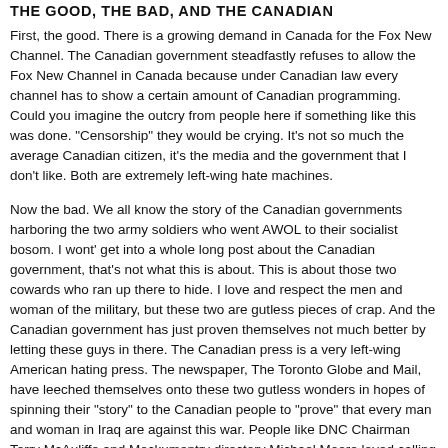THE GOOD, THE BAD, AND THE CANADIAN
First, the good. There is a growing demand in Canada for the Fox New Channel. The Canadian government steadfastly refuses to allow the Fox New Channel in Canada because under Canadian law every channel has to show a certain amount of Canadian programming. Could you imagine the outcry from people here if something like this was done. "Censorship" they would be crying. It's not so much the average Canadian citizen, it's the media and the government that I don't like. Both are extremely left-wing hate machines.
Now the bad. We all know the story of the Canadian governments harboring the two army soldiers who went AWOL to their socialist bosom. I wont' get into a whole long post about the Canadian government, that's not what this is about. This is about those two cowards who ran up there to hide. I love and respect the men and woman of the military, but these two are gutless pieces of crap. And the Canadian government has just proven themselves not much better by letting these guys in there. The Canadian press is a very left-wing American hating press. The newspaper, The Toronto Globe and Mail, have leeched themselves onto these two gutless wonders in hopes of spinning their "story" to the Canadian people to "prove" that every man and woman in Iraq are against this war. People like DNC Chairman Terry McAuliffe and Mockumentry directory Michael Moore loved calling Bush a deserter, where are they now that we actually...